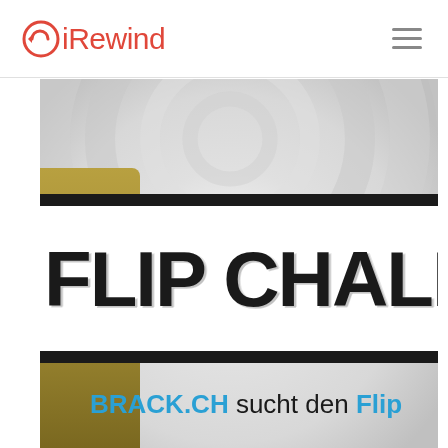iRewind
[Figure (photo): Close-up photo of a white t-shirt displaying 'FLIP CHALL' text in large distressed black font on a white sign/banner with black borders. Below the sign reads 'BRACK.CH sucht den Flip' in teal/blue text. The person wearing the shirt has olive/tan clothing visible on the left side. The background shows a swirling white/grey pattern.]